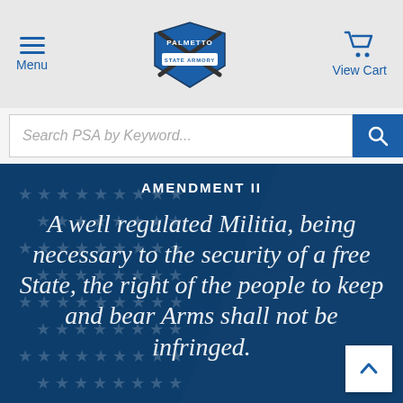[Figure (logo): Palmetto State Armory logo — crossed rifles with shield and banner]
Menu | Palmetto State Armory | View Cart
Search PSA by Keyword...
AMENDMENT II
A well regulated Militia, being necessary to the security of a free State, the right of the people to keep and bear Arms shall not be infringed.